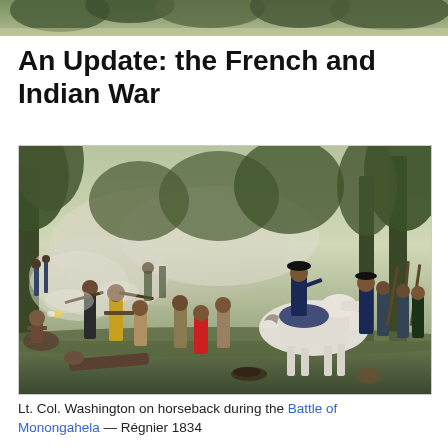[Figure (photo): Partial top of a painting or illustration showing treetops and foliage, cropped at the top of the page]
An Update: the French and Indian War
[Figure (illustration): Historical painting of Lt. Col. Washington on horseback during the Battle of Monongahela. A large battle scene showing soldiers, Native Americans, and a white horse with Washington mounted on it in the center-right. Trees and smoke fill the background. Painted by Régnier, 1834.]
Lt. Col. Washington on horseback during the Battle of Monongahela — Régnier 1834